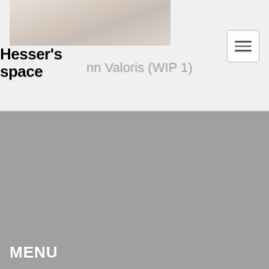[Figure (photo): Partial image of a figure or sculpture in light beige/cream tones, cropped at the top of the page]
Hesser's space
nn Valoris (WIP 1)
[Figure (other): Hamburger menu button - three horizontal lines icon inside a rounded rectangle border]
MENU
Home
Articles
Gallery
SOCIAL
facebook